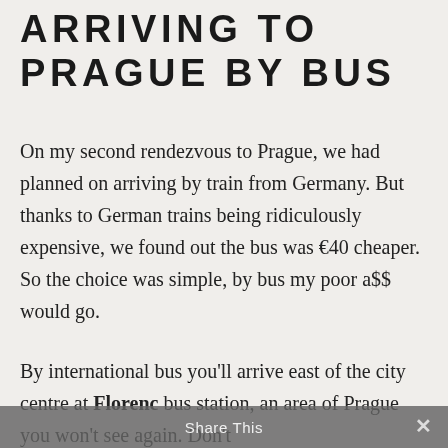ARRIVING TO PRAGUE BY BUS
On my second rendezvous to Prague, we had planned on arriving by train from Germany. But thanks to German trains being ridiculously expensive, we found out the bus was €40 cheaper. So the choice was simple, by bus my poor a$$ would go.
By international bus you'll arrive east of the city centre at Florenc bus station, an area of Prague you won't see again. Don't
Share This ✕